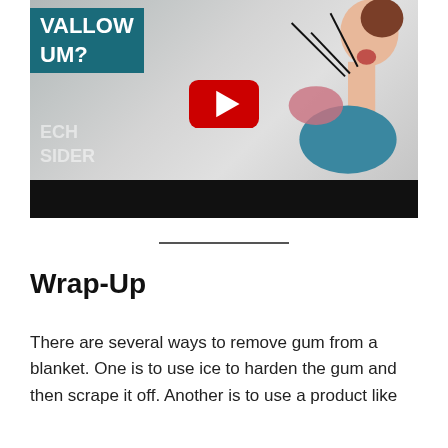[Figure (screenshot): YouTube video thumbnail showing a medical/educational illustration of a person's throat/digestive anatomy with text 'SWALLOW GUM?' on a teal banner, a red YouTube play button in the center, and 'TECH INSIDER' watermark at bottom left. A black bar appears at the bottom of the thumbnail.]
Wrap-Up
There are several ways to remove gum from a blanket. One is to use ice to harden the gum and then scrape it off. Another is to use a product like